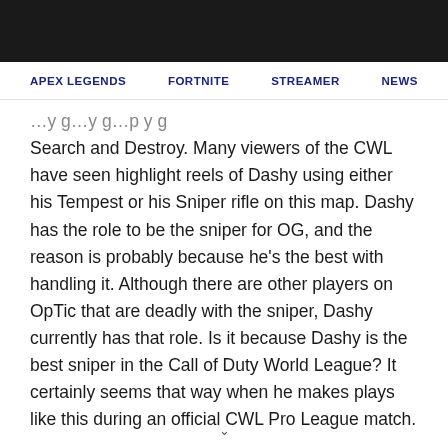APEX LEGENDS   FORTNITE   STREAMER   NEWS
Search and Destroy. Many viewers of the CWL have seen highlight reels of Dashy using either his Tempest or his Sniper rifle on this map. Dashy has the role to be the sniper for OG, and the reason is probably because he's the best with handling it. Although there are other players on OpTic that are deadly with the sniper, Dashy currently has that role. Is it because Dashy is the best sniper in the Call of Duty World League? It certainly seems that way when he makes plays like this during an official CWL Pro League match.